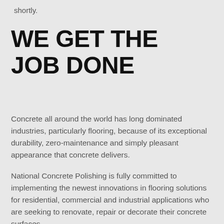shortly.
WE GET THE JOB DONE
Concrete all around the world has long dominated industries, particularly flooring, because of its exceptional durability, zero-maintenance and simply pleasant appearance that concrete delivers.
National Concrete Polishing is fully committed to implementing the newest innovations in flooring solutions for residential, commercial and industrial applications who are seeking to renovate, repair or decorate their concrete surfaces.